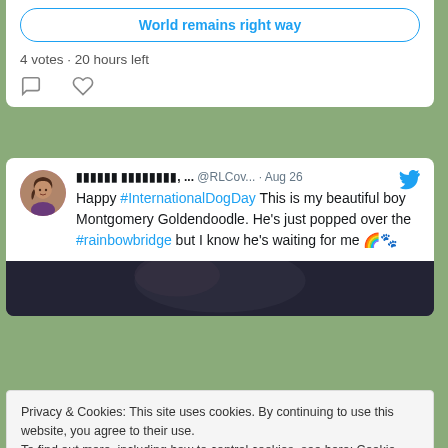[Figure (screenshot): Twitter poll option button showing 'World remains right way' in blue outlined pill/rounded button]
4 votes · 20 hours left
[Figure (screenshot): Comment and like icons row]
[Figure (screenshot): Twitter tweet by user with redacted name @RLCov... on Aug 26. Text: Happy #InternationalDogDay This is my beautiful boy Montgomery Goldendoodle. He's just popped over the #rainbowbridge but I know he's waiting for me 🌈🐾. Includes a partial photo of a dog.]
Privacy & Cookies: This site uses cookies. By continuing to use this website, you agree to their use.
To find out more, including how to control cookies, see here: Cookie Policy
Close and accept